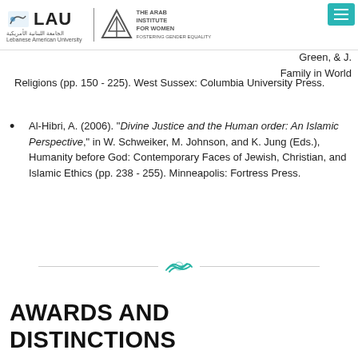LAU | The Arab Institute for Women
Green, & J. Family in World Religions (pp. 150 - 225). West Sussex: Columbia University Press.
Al-Hibri, A. (2006). "Divine Justice and the Human order: An Islamic Perspective," in W. Schweiker, M. Johnson, and K. Jung (Eds.), Humanity before God: Contemporary Faces of Jewish, Christian, and Islamic Ethics (pp. 238 - 255). Minneapolis: Fortress Press.
[Figure (illustration): Decorative horizontal divider with handshake icon in teal/green color centered between two horizontal lines]
AWARDS AND DISTINCTIONS